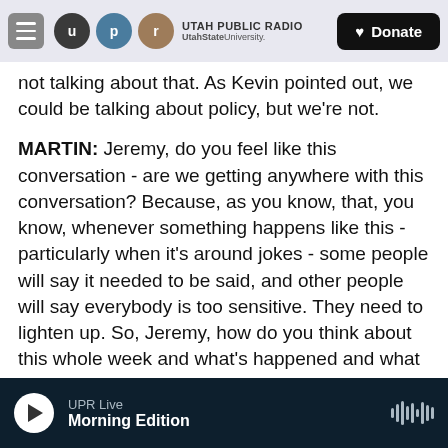[Figure (screenshot): Utah Public Radio navigation bar with hamburger menu, UPR logo circles (u, p, r), UTAH PUBLIC RADIO / UtahStateUniversity. text, and a Donate button]
not talking about that. As Kevin pointed out, we could be talking about policy, but we're not.
MARTIN: Jeremy, do you feel like this conversation - are we getting anywhere with this conversation? Because, as you know, that, you know, whenever something happens like this - particularly when it's around jokes - some people will say it needed to be said, and other people will say everybody is too sensitive. They need to lighten up. So, Jeremy, how do you think about this whole week and what's happened and what we're talking about?
GORDON: I'm inclined to take a more negative view
UPR Live  Morning Edition